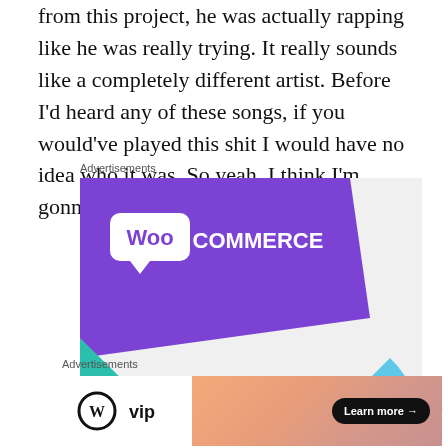from this project, he was actually rapping like he was really trying. It really sounds like a completely different artist. Before I'd heard any of these songs, if you would've played this shit I would have no idea who it was. So yeah, I think I'm gonna really like this album.
Advertisements
[Figure (screenshot): WooCommerce advertisement banner: purple diagonal background with WooCommerce logo (speech bubble with 'Woo' text and 'COMMERCE'), teal triangle lower left, light blue curved shape lower right, text 'How to start selling subscriptions online' in bold black on white area]
Advertisements
[Figure (screenshot): WordPress VIP advertisement: WP logo with 'vip' text on white left side, gradient peach/orange right side with 'Learn more →' button in dark pill shape]